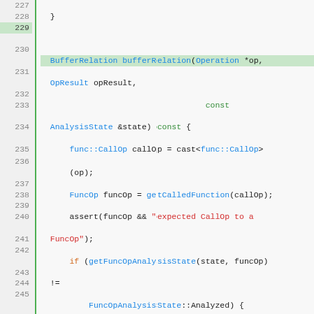[Figure (screenshot): Source code listing lines 227-249 of a C++ file showing a bufferRelation method implementation with syntax highlighting. Line numbers on left, green vertical bar separator, code with colored tokens (blue for types/functions, orange for keywords, red for comments/strings, green for preprocessor directives).]